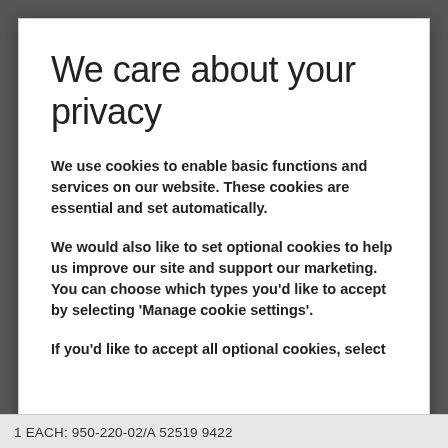We care about your privacy
We use cookies to enable basic functions and services on our website. These cookies are essential and set automatically.
We would also like to set optional cookies to help us improve our site and support our marketing. You can choose which types you'd like to accept by selecting 'Manage cookie settings'.
If you'd like to accept all optional cookies, select
1 EACH: 950-220-02/A 52519 9422